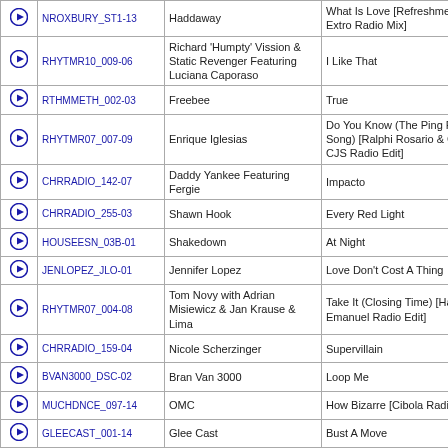|  | ID | Artist | Title |
| --- | --- | --- | --- |
| ▶ | NROXBURY_ST1-13 | Haddaway | What Is Love [Refreshmento Extro Radio Mix] |
| ▶ | RHYTMR10_009-06 | Richard 'Humpty' Vission & Static Revenger Featuring Luciana Caporaso | I Like That |
| ▶ | RTHMMETH_002-03 | Freebee | True |
| ▶ | RHYTMR07_007-09 | Enrique Iglesias | Do You Know (The Ping Pong Song) [Ralphi Rosario & Craig CJS Radio Edit] |
| ▶ | CHRRADIO_142-07 | Daddy Yankee Featuring Fergie | Impacto |
| ▶ | CHRRADIO_255-03 | Shawn Hook | Every Red Light |
| ▶ | HOUSEESN_03B-01 | Shakedown | At Night |
| ▶ | JENLOPEZ_JLO-01 | Jennifer Lopez | Love Don't Cost A Thing |
| ▶ | RHYTMR07_004-08 | Tom Novy with Adrian Misiewicz & Jan Krause & Lima | Take It (Closing Time) [Haji & Emanuel Radio Edit] |
| ▶ | CHRRADIO_159-04 | Nicole Scherzinger | Supervillain |
| ▶ | BVAN3000_DSC-02 | Bran Van 3000 | Loop Me |
| ▶ | MUCHDNCE_097-14 | OMC | How Bizarre [Cibola Radio Mix] |
| ▶ | GLEECAST_001-14 | Glee Cast | Bust A Move |
| ▶ | RADIO204_06A-01 | Fefe Dobson | Don't Go |
| ▶ | CHRRADIO_164-01 | Santana Featuring Jennifer Lopez & Baby Bash | This Boy's Fire |
| ▶ | RADIO203_11A-01 | Britney Spears Featuring Madonna | Me Against the Music [Video Mix] |
| ▶ | RADIO204_03A-14 | Kylie Minogue | Red Blooded Woman |